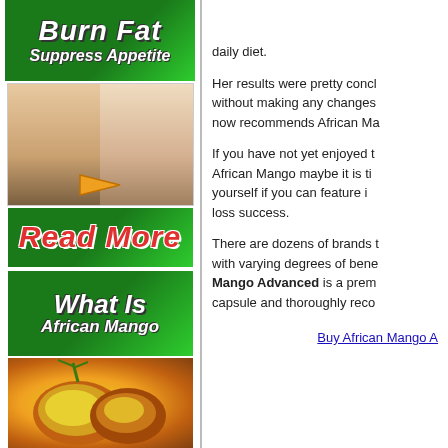[Figure (illustration): Green banner with italic bold text 'Burn Fat' and 'Suppress Appetite']
[Figure (photo): Before and after belly comparison photos side by side with orange arrow]
[Figure (illustration): Green banner with red italic text 'Read More']
[Figure (illustration): Green banner with white italic text 'What Is' and 'African Mango']
[Figure (photo): Photo of mangoes]
daily diet.
Her results were pretty concl without making any changes now recommends African Ma
If you have not yet enjoyed t African Mango maybe it is ti yourself if you can feature i loss success.
There are dozens of brands with varying degrees of bene Mango Advanced is a prem capsule and thoroughly reco
Buy African Mango A